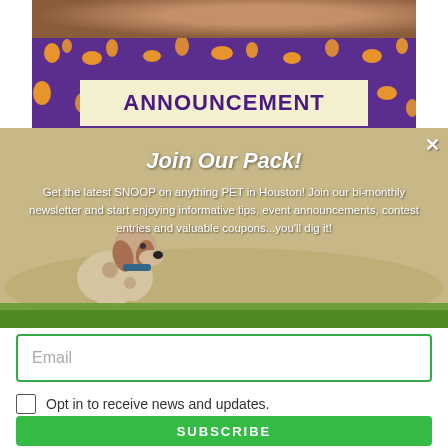[Figure (photo): Top portion of a photo showing a person with a hat, partially cropped]
[Figure (infographic): Purple banner with orange paw print pattern and a yellow box containing the word ANNOUNCEMENT in bold purple text]
[Figure (photo): A dog (beagle/pointer mix) standing in an open sandy field, used as background for a newsletter signup modal overlay]
Join Our Pack!
Get the latest SNOOP on anything PET in Houston! Join our bi-monthly newsletter and start enjoying informative tips, event announcements, contest entries and valuable coupons...you'll dig it!
Email
Opt in to receive news and updates.
SUBSCRIBE